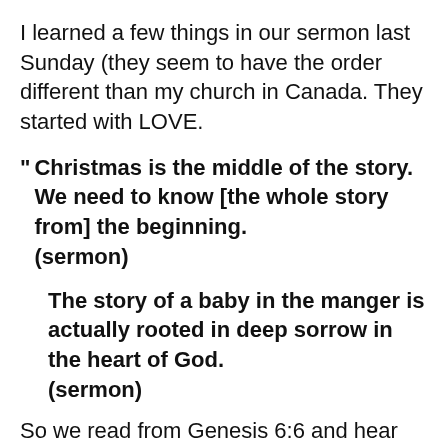I learned a few things in our sermon last Sunday (they seem to have the order different than my church in Canada. They started with LOVE.
" Christmas is the middle of the story. We need to know [the whole story from] the beginning. (sermon)
The story of a baby in the manger is actually rooted in deep sorrow in the heart of God. (sermon)
So we read from Genesis 6:6 and hear the